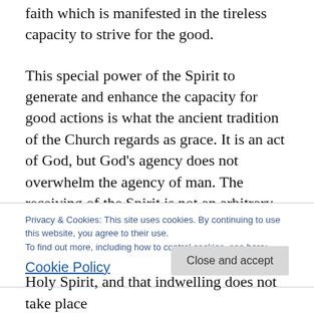faith which is manifested in the tireless capacity to strive for the good.
This special power of the Spirit to generate and enhance the capacity for good actions is what the ancient tradition of the Church regards as grace. It is an act of God, but God’s agency does not overwhelm the agency of man. The receiving of the Spirit is not an arbitrary and capricious matter, however. The Holy Spirit acts more effectively in those who have made themselves holy – negatively
Privacy & Cookies: This site uses cookies. By continuing to use this website, you agree to their use.
To find out more, including how to control cookies, see here: Cookie Policy
Holy Spirit, and that indwelling does not take place